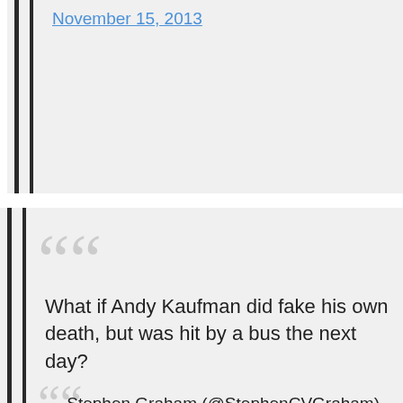November 15, 2013
What if Andy Kaufman did fake his own death, but was hit by a bus the next day?

— Stephen Graham (@StephenCVGraham)
November 15, 2013